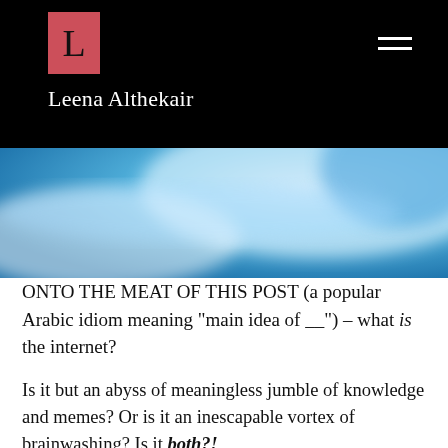[Figure (logo): Pink/red square with black letter L logo for Leena Althekair blog]
Leena Althekair
[Figure (photo): Abstract blue and white swirl/smoke background image]
ONTO THE MEAT OF THIS POST (a popular Arabic idiom meaning "main idea of __") – what is the internet?
Is it but an abyss of meaningless jumble of knowledge and memes? Or is it an inescapable vortex of brainwashing? Is it both?!
Back when the internet was first